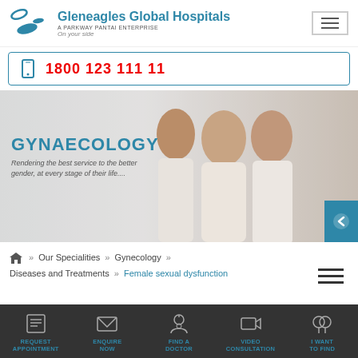[Figure (logo): Gleneagles Global Hospitals logo with tagline 'A Parkway Pantai Enterprise, On your side']
1800 123 111 11
[Figure (photo): Three women of different ages smiling together with GYNAECOLOGY header text overlay. Subtext: Rendering the best service to the better gender, at every stage of their life....]
Our Specialities >> Gynecology >> Diseases and Treatments >> Female sexual dysfunction
REQUEST APPOINTMENT | ENQUIRE NOW | FIND A DOCTOR | VIDEO CONSULTATION | I WANT TO FIND